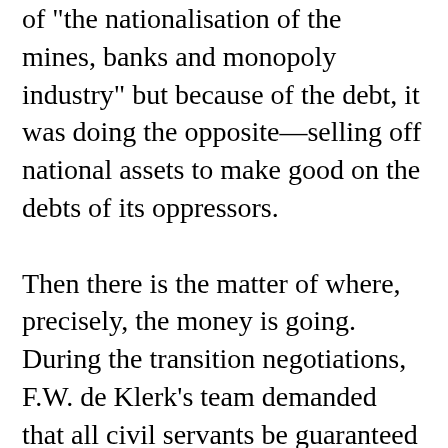of "the nationalisation of the mines, banks and monopoly industry" but because of the debt, it was doing the opposite—selling off national assets to make good on the debts of its oppressors.

Then there is the matter of where, precisely, the money is going. During the transition negotiations, F.W. de Klerk's team demanded that all civil servants be guaranteed their jobs even after the handover; those who wanted to leave, they argued, should receive hefty lifelong pensions. This was an extraordinary demand in a country with no social safety net to speak of, yet it was one of several "technical"